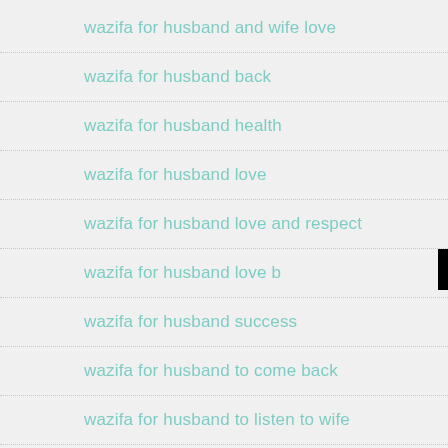wazifa for husband and wife love
wazifa for husband back
wazifa for husband health
wazifa for husband love
wazifa for husband love and respect
wazifa for husband love b[obscured by banner]
[Figure (other): Black banner overlay reading 'Click to Consult on Whatsapp']
wazifa for husband success
wazifa for husband to come back
wazifa for husband to listen to wife
wazifa for husband wife love